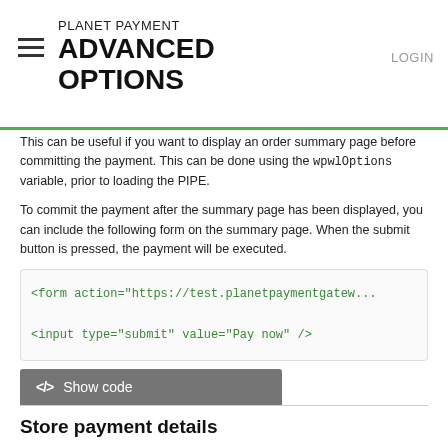PLANET PAYMENT ADVANCED OPTIONS
This can be useful if you want to display an order summary page before committing the payment. This can be done using the wpwlOptions variable, prior to loading the PIPE.
To commit the payment after the summary page has been displayed, you can include the following form on the summary page. When the submit button is pressed, the payment will be executed.
[Figure (screenshot): Code block showing HTML form: <form action="https://test.planetpaymentgatew... and <input type="submit" value="Pay now" />]
</> Show code
Store payment details
There are two ways to store the payment details used during a